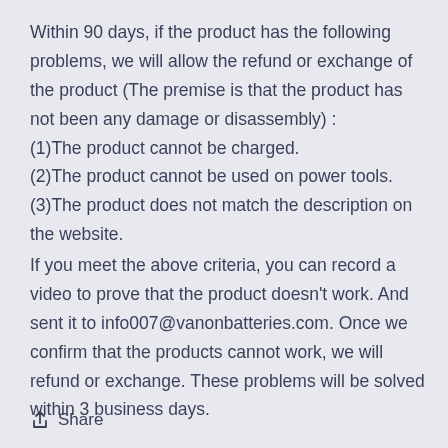Within 90 days, if the product has the following problems, we will allow the refund or exchange of the product (The premise is that the product has not been any damage or disassembly) :
(1)The product cannot be charged.
(2)The product cannot be used on power tools.
(3)The product does not match the description on the website.
If you meet the above criteria, you can record a video to prove that the product doesn't work. And sent it to info007@vanonbatteries.com. Once we confirm that the products cannot work, we will refund or exchange. These problems will be solved within 3 business days.
Share